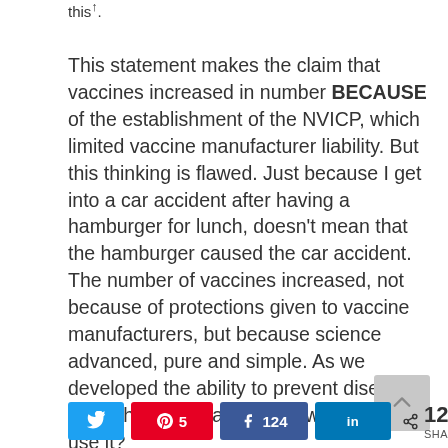this↑.
This statement makes the claim that vaccines increased in number BECAUSE of the establishment of the NVICP, which limited vaccine manufacturer liability. But this thinking is flawed. Just because I get into a car accident after having a hamburger for lunch, doesn't mean that the hamburger caused the car accident. The number of vaccines increased, not because of protections given to vaccine manufacturers, but because science advanced, pure and simple. As we developed the ability to prevent disease through immunization, why would we not use it?